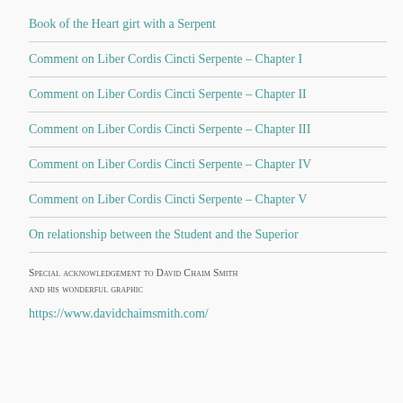Book of the Heart girt with a Serpent
Comment on Liber Cordis Cincti Serpente – Chapter I
Comment on Liber Cordis Cincti Serpente – Chapter II
Comment on Liber Cordis Cincti Serpente – Chapter III
Comment on Liber Cordis Cincti Serpente – Chapter IV
Comment on Liber Cordis Cincti Serpente – Chapter V
On relationship between the Student and the Superior
Special acknowledgement to David Chaim Smith and his wonderful graphic
https://www.davidchaimsmith.com/